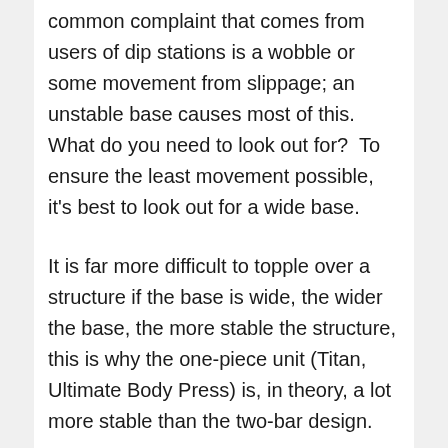common complaint that comes from users of dip stations is a wobble or some movement from slippage; an unstable base causes most of this. What do you need to look out for?  To ensure the least movement possible, it's best to look out for a wide base.
It is far more difficult to topple over a structure if the base is wide, the wider the base, the more stable the structure, this is why the one-piece unit (Titan, Ultimate Body Press) is, in theory, a lot more stable than the two-bar design.
Although the two bar designs try their best to be stable with wide stabilizing feet, they are often